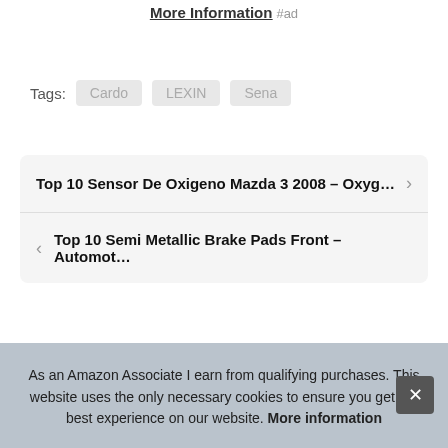More Information #ad
Tags: Cardo LEXIN Sena
Top 10 Sensor De Oxigeno Mazda 3 2008 – Oxyg...
Top 10 Semi Metallic Brake Pads Front – Automot...
As an Amazon Associate I earn from qualifying purchases. This website uses the only necessary cookies to ensure you get the best experience on our website. More information